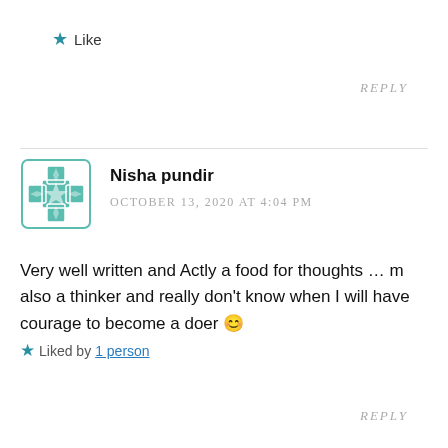★ Like
REPLY
Nisha pundir
OCTOBER 13, 2020 AT 4:04 PM
Very well written and Actly a food for thoughts … m also a thinker and really don't know when I will have courage to become a doer 😊
★ Liked by 1 person
REPLY